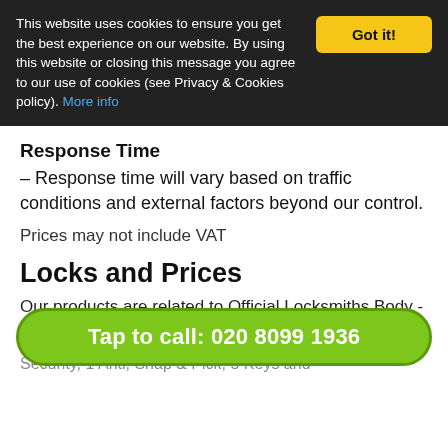This website uses cookies to ensure you get the best experience on our website. By using this website or closing this message you agree to our use of cookies (see Privacy & Cookies policy). More info
Got it!
Response Time
– Response time will vary based on traffic conditions and external factors beyond our control.
Prices may not include VAT
Locks and Prices
Our products are related to Official Locksmiths Body -
£120.00 - Double Euro Versa, M-1AS-6P5, Medium
Security, 1 Anti, Snap & Pick, 5 Keys and
Tap to call: 020 8099 1936